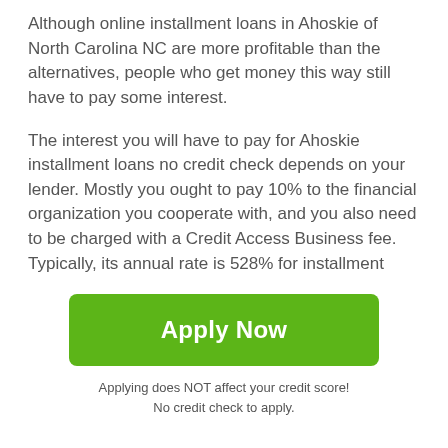Although online installment loans in Ahoskie of North Carolina NC are more profitable than the alternatives, people who get money this way still have to pay some interest.
The interest you will have to pay for Ahoskie installment loans no credit check depends on your lender. Mostly you ought to pay 10% to the financial organization you cooperate with, and you also need to be charged with a Credit Access Business fee. Typically, its annual rate is 528% for installment loans that are less than $1,500. But if you get a bigger sum, the rate will be decreased to 408%. That's why in case if you want to save your money, you should get direct lender installment loans in Ahoskie of
[Figure (other): Grey scroll-to-top button with white upward arrow]
Apply Now
Applying does NOT affect your credit score!
No credit check to apply.